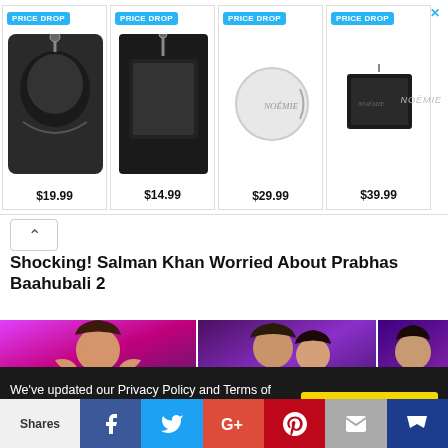[Figure (screenshot): Ad banner showing 4 product items with PRICE DROP badges. Item 1: black leather AirPods case keychain $19.99. Item 2: black leather square keychain $14.99. Item 3: white round coin purse $29.99. Item 4: black leather wallet $39.99. Brand: NOÉMIE. Blue arrow in top right.]
[Figure (screenshot): Chevron up arrow button in white rounded box above article title]
Shocking! Salman Khan Worried About Prabhas Baahubali 2
[Figure (photo): Three celebrity photos side by side: 1) Sunny Leone in blue lehenga dancing on stage with pink/purple lighting. 2) Varun Dhawan and Alia Bhatt in close pose, movie promotional image. 3) Madhuri Dixit smiling in purple outfit.]
We've updated our Privacy Policy and Terms of Service to make sure the usage of users data in a more clearer way. Click "Okay, I
Okay, I Understand
Shares